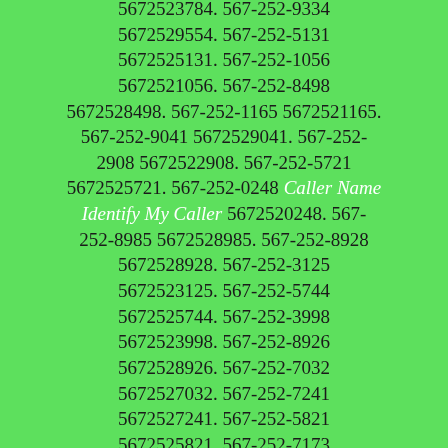5672523784. 567-252-9334 5672529554. 567-252-5131 5672525131. 567-252-1056 5672521056. 567-252-8498 5672528498. 567-252-1165 5672521165. 567-252-9041 5672529041. 567-252-2908 5672522908. 567-252-5721 5672525721. 567-252-0248 Caller Name Identify My Caller 5672520248. 567-252-8985 5672528985. 567-252-8928 5672528928. 567-252-3125 5672523125. 567-252-5744 5672525744. 567-252-3998 5672523998. 567-252-8926 5672528926. 567-252-7032 5672527032. 567-252-7241 5672527241. 567-252-5821 5672525821. 567-252-7173 5672527173. 567-252-5565 5672525565. 567-252-4379 5672524379. 567-252-8850 5672528850. 567-252-7989 5672527989. 567-252-1993 5672521993. 567-252-6712 5672526712. 567-252-6012 5672526012. 567-252-7166